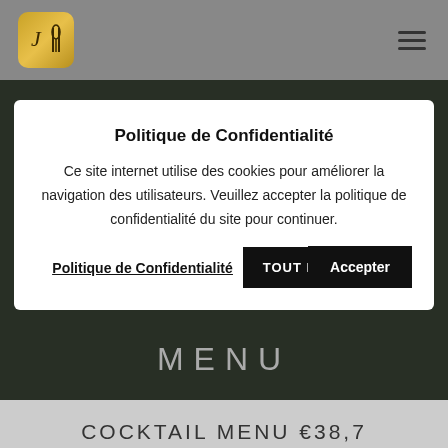[Figure (logo): Golden/yellow rounded square logo with stylized J and fork/spoon icons in dark script]
[Figure (illustration): Dark background hero image with blurred green plant/food elements and the word MENU in light gray large letters]
Politique de Confidentialité
Ce site internet utilise des cookies pour améliorer la navigation des utilisateurs. Veuillez accepter la politique de confidentialité du site pour continuer.
Politique de Confidentialité
Accepter
TOUT REFUSER
COCKTAIL MENU €38,7